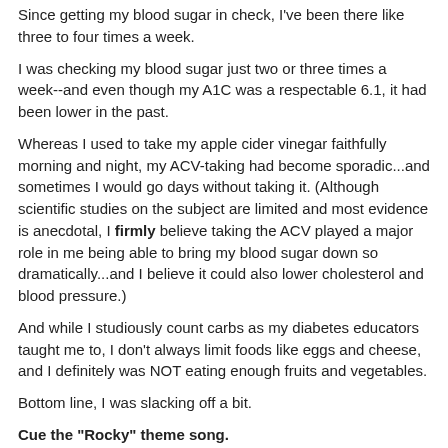Since getting my blood sugar in check, I've been there like three to four times a week.
I was checking my blood sugar just two or three times a week--and even though my A1C was a respectable 6.1, it had been lower in the past.
Whereas I used to take my apple cider vinegar faithfully morning and night, my ACV-taking had become sporadic...and sometimes I would go days without taking it. (Although scientific studies on the subject are limited and most evidence is anecdotal, I firmly believe taking the ACV played a major role in me being able to bring my blood sugar down so dramatically...and I believe it could also lower cholesterol and blood pressure.)
And while I studiously count carbs as my diabetes educators taught me to, I don't always limit foods like eggs and cheese, and I definitely was NOT eating enough fruits and vegetables.
Bottom line, I was slacking off a bit.
Cue the "Rocky" theme song.